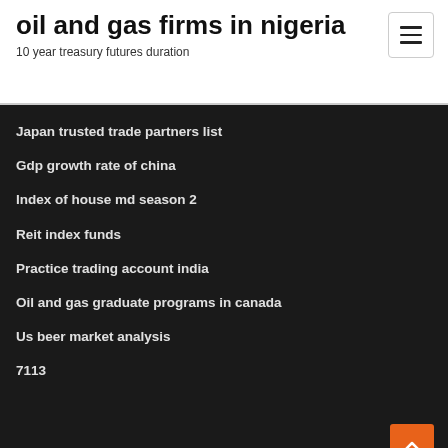oil and gas firms in nigeria
10 year treasury futures duration
Japan trusted trade partners list
Gdp growth rate of china
Index of house md season 2
Reit index funds
Practice trading account india
Oil and gas graduate programs in canada
Us beer market analysis
7113